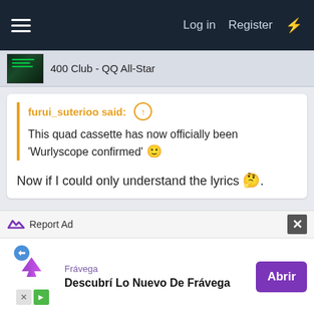Log in  Register
400 Club - QQ All-Star
furui_suterioo said: ↑
This quad cassette has now officially been 'Wurlyscope confirmed' 🙂
Now if I could only understand the lyrics 🤔.
fizzywiggs41 and furui_suterioo
Advertisement
Report Ad
Frávega
Descubrí Lo Nuevo De Frávega
Abrir